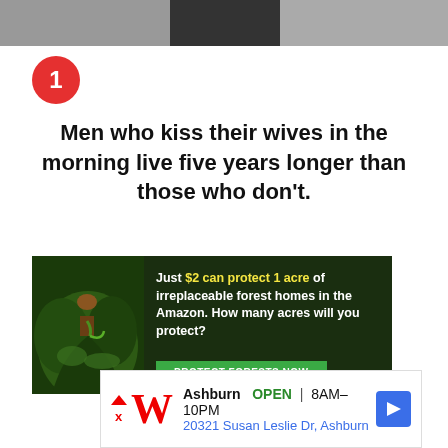[Figure (photo): Partial photo of a person, cropped at top of page]
Men who kiss their wives in the morning live five years longer than those who don't.
[Figure (infographic): Amazon forest protection advertisement: 'Just $2 can protect 1 acre of irreplaceable forest homes in the Amazon. How many acres will you protect?' with PROTECT FORESTS NOW button]
[Figure (infographic): Walgreens ad: Ashburn OPEN 8AM-10PM, 20321 Susan Leslie Dr, Ashburn]